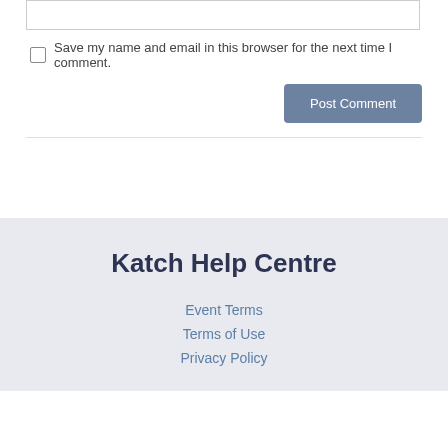Save my name and email in this browser for the next time I comment.
Post Comment
Katch Help Centre
Event Terms
Terms of Use
Privacy Policy